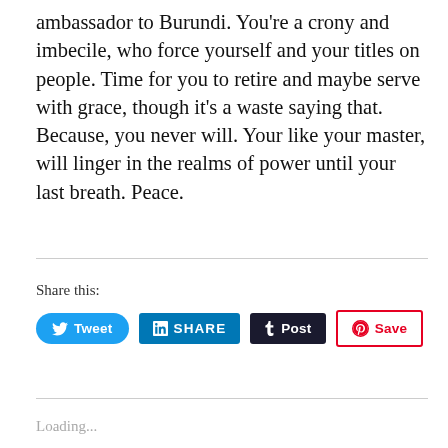ambassador to Burundi. You're a crony and imbecile, who force yourself and your titles on people. Time for you to retire and maybe serve with grace, though it's a waste saying that. Because, you never will. Your like your master, will linger in the realms of power until your last breath. Peace.
Share this:
[Figure (infographic): Social share buttons: Tweet (Twitter/blue), SHARE (LinkedIn/blue), Post (Tumblr/dark navy), Save (Pinterest/red outline)]
Loading...